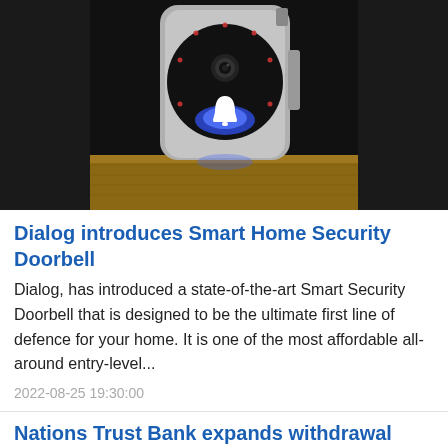[Figure (photo): A smart home security doorbell device with a round black lens panel, illuminated bell icon at the bottom, small LED dots arranged in a circle, set against a dark background on a wooden surface.]
Dialog introduces Smart Home Security Doorbell
Dialog, has introduced a state-of-the-art Smart Security Doorbell that is designed to be the ultimate first line of defence for your home. It is one of the most affordable all-around entry-level...
2022-08-25 19:30:00
Nations Trust Bank expands withdrawal Cash Deposits, Machines at Keells outlets